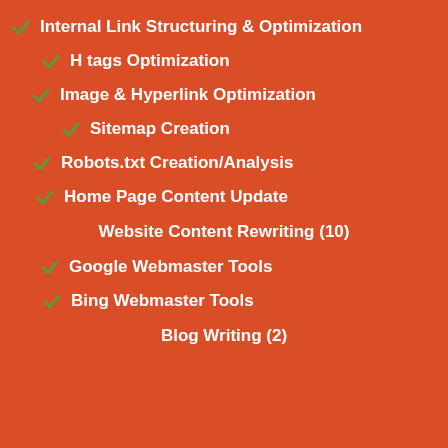Internal Link Structuring & Optimization
H tags Optimization
Image & Hyperlink Optimization
Sitemap Creation
Robots.txt Creation/Analysis
Home Page Content Update
Website Content Rewriting (10)
Google Webmaster Tools
Bing Webmaster Tools
Blog Writing (2)